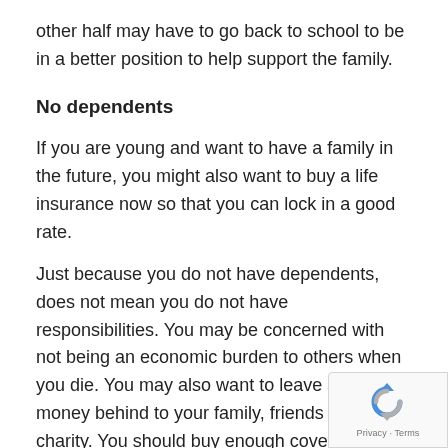other half may have to go back to school to be in a better position to help support the family.
No dependents
If you are young and want to have a family in the future, you might also want to buy a life insurance now so that you can lock in a good rate.
Just because you do not have dependents, does not mean you do not have responsibilities. You may be concerned with not being an economic burden to others when you die. You may also want to leave some money behind to your family, friends or a charity. You should buy enough coverage to pay outstanding debts, tax liabilities and funeral expenses.
[Figure (other): Google reCAPTCHA widget overlay in the bottom-right corner showing the reCAPTCHA logo and Privacy - Terms text.]